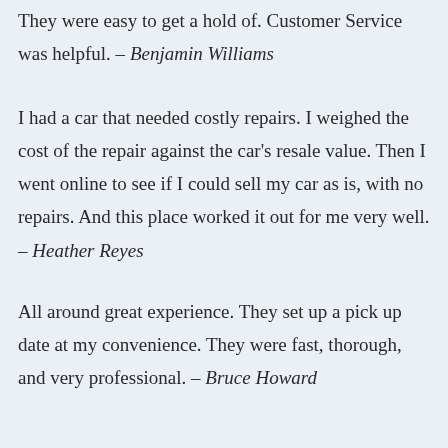They were easy to get a hold of. Customer Service was helpful. – Benjamin Williams
I had a car that needed costly repairs. I weighed the cost of the repair against the car's resale value. Then I went online to see if I could sell my car as is, with no repairs. And this place worked it out for me very well. – Heather Reyes
All around great experience. They set up a pick up date at my convenience. They were fast, thorough, and very professional. – Bruce Howard